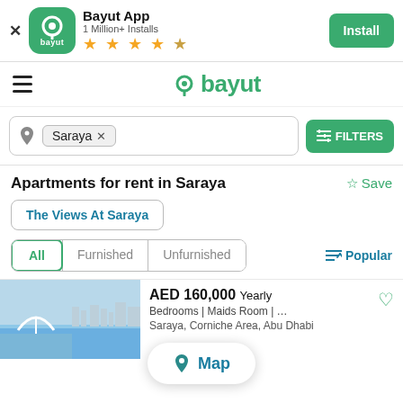[Figure (screenshot): Bayut app install banner with green icon, 1 Million+ Installs, star rating, and Install button]
[Figure (logo): Bayut navigation bar with hamburger menu and green Bayut logo]
Saraya ×
FILTERS
Apartments for rent in Saraya
Save
The Views At Saraya
All   Furnished   Unfurnished
Popular
[Figure (photo): Coastal/waterfront photo showing water and city skyline]
AED 160,000 Yearly
Bedrooms | Maids Room | …
Saraya, Corniche Area, Abu Dhabi
Map